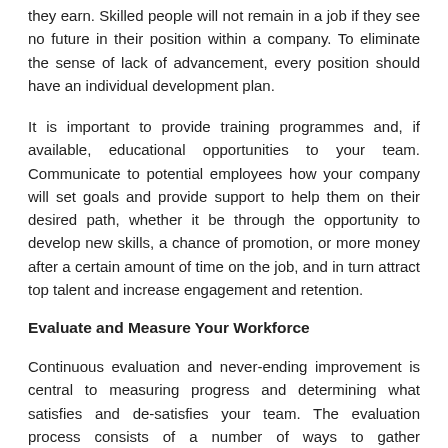they earn. Skilled people will not remain in a job if they see no future in their position within a company. To eliminate the sense of lack of advancement, every position should have an individual development plan.
It is important to provide training programmes and, if available, educational opportunities to your team. Communicate to potential employees how your company will set goals and provide support to help them on their desired path, whether it be through the opportunity to develop new skills, a chance of promotion, or more money after a certain amount of time on the job, and in turn attract top talent and increase engagement and retention.
Evaluate and Measure Your Workforce
Continuous evaluation and never-ending improvement is central to measuring progress and determining what satisfies and de-satisfies your team. The evaluation process consists of a number of ways to gather information, such as employee satisfaction surveys, entry and exit interviews and examining departments with high turnover rates.
There are many management strategies for attracting, engaging, and